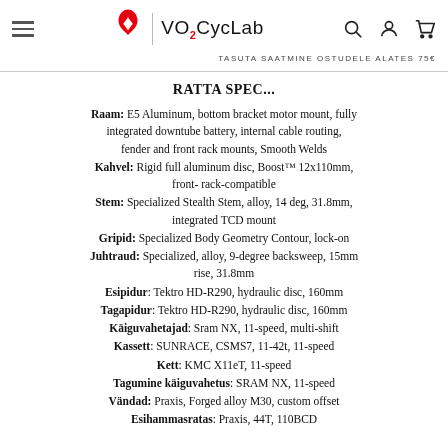VO2CycLab — TASUTA SAATMINE OSTUDELE ALATES 75€
RATTA SPEC...
Raam: E5 Aluminum, bottom bracket motor mount, fully integrated downtube battery, internal cable routing, fender and front rack mounts, Smooth Welds
Kahvel: Rigid full aluminum disc, Boost™ 12x110mm, front- rack-compatible
Stem: Specialized Stealth Stem, alloy, 14 deg, 31.8mm, integrated TCD mount
Gripid: Specialized Body Geometry Contour, lock-on
Juhtraud: Specialized, alloy, 9-degree backsweep, 15mm rise, 31.8mm
Esipidur: Tektro HD-R290, hydraulic disc, 160mm
Tagapidur: Tektro HD-R290, hydraulic disc, 160mm
Käiguvahetajad: Sram NX, 11-speed, multi-shift
Kassett: SUNRACE, CSMS7, 11-42t, 11-speed
Kett: KMC X11eT, 11-speed
Tagumine käiguvahetus: SRAM NX, 11-speed
Vändad: Praxis, Forged alloy M30, custom offset
Esihammasratas: Praxis, 44T, 110BCD